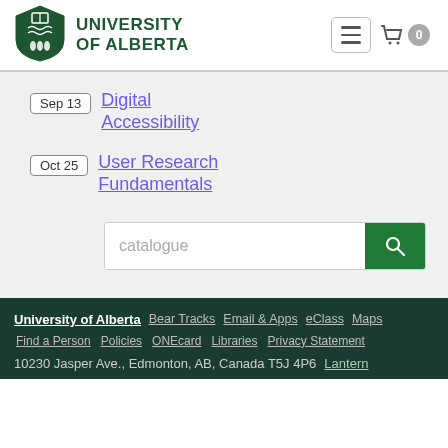[Figure (logo): University of Alberta shield logo with green crest]
UNIVERSITY OF ALBERTA
Sep 13 | Digital Accessibility
Oct 25 | User Research Fundamentals
catalogue [search box]
University of Alberta  Bear Tracks  Email & Apps  eClass  Maps  Find a Person  Policies  ONEcard  Libraries  Privacy Statement  10230 Jasper Ave., Edmonton, AB, Canada T5J 4P6  Lantern